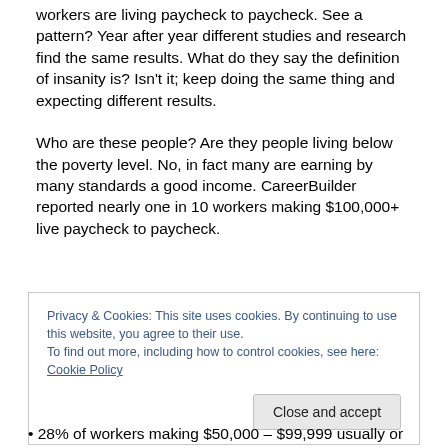workers are living paycheck to paycheck. See a pattern? Year after year different studies and research find the same results. What do they say the definition of insanity is? Isn't it; keep doing the same thing and expecting different results.
Who are these people? Are they people living below the poverty level. No, in fact many are earning by many standards a good income. CareerBuilder reported nearly one in 10 workers making $100,000+ live paycheck to paycheck.
Privacy & Cookies: This site uses cookies. By continuing to use this website, you agree to their use.
To find out more, including how to control cookies, see here: Cookie Policy
Close and accept
28% of workers making $50,000 – $99,999 usually or